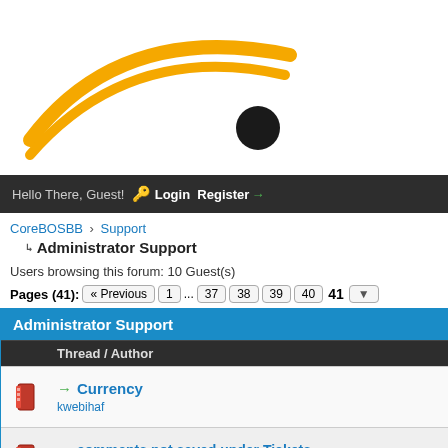[Figure (logo): CoreBOS forum logo with yellow/orange swoosh lines and black ball on white background]
Hello There, Guest! Login Register
CoreBOSBB › Support
Administrator Support
Users browsing this forum: 10 Guest(s)
Pages (41): « Previous 1 ... 37 38 39 40 41 ▼
| Administrator Support |
| --- |
| Thread / Author |
| → Currency
kwebihaf |
| → comments not saved under Tickets
accuservice |
| → coreBOS Customer Portal
jayo2005 |